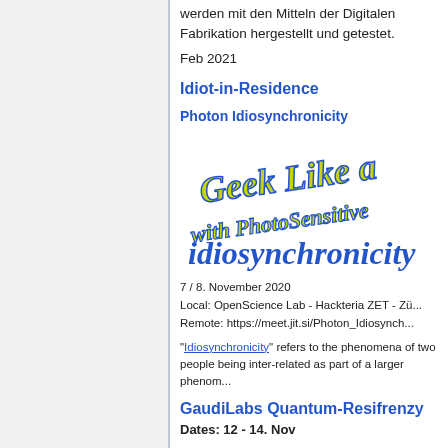werden mit den Mitteln der Digitalen Fabrikation hergestellt und getestet.
Feb 2021
Idiot-in-Residence
Photon Idiosynchronicity
[Figure (illustration): Decorative hand-drawn text reading 'Geek Like a... with PhotoSensitive ... idiosynchronicity' in yellow and blue lettering on white background]
7 / 8. November 2020
Local: OpenScience Lab - Hackteria ZET - Zü...
Remote: https://meet.jit.si/Photon_Idiosynch...
"Idiosynchronicity" refers to the phenomena of two people being inter-related as part of a larger phenom...
GaudiLabs Quantum-Resifrenzy
Dates: 12 - 14. Nov